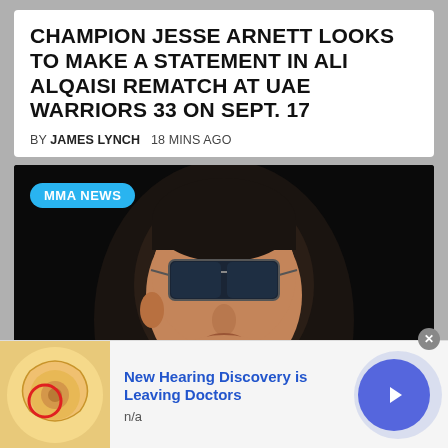CHAMPION JESSE ARNETT LOOKS TO MAKE A STATEMENT IN ALI ALQAISI REMATCH AT UAE WARRIORS 33 ON SEPT. 17
BY JAMES LYNCH   18 MINS AGO
[Figure (photo): MMA fighter wearing sunglasses and black jacket, with MMA NEWS badge overlay]
[Figure (infographic): Advertisement: New Hearing Discovery is Leaving Doctors. n/a. Shows ear anatomy image with red circle. Navigation arrow button on right.]